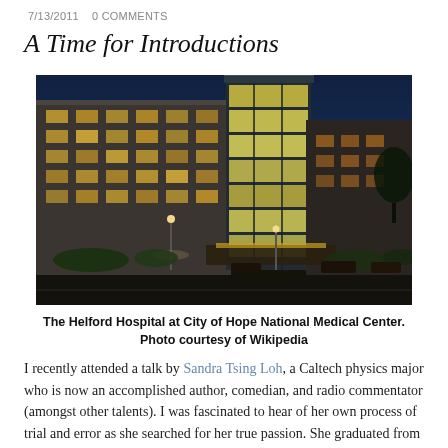7/13/2011   0 COMMENTS
A Time for Introductions
[Figure (photo): Night photograph of The Helford Hospital at City of Hope National Medical Center, a modern multi-story building with illuminated glass tower and warm interior lighting against a deep blue evening sky.]
The Helford Hospital at City of Hope National Medical Center. Photo courtesy of Wikipedia
I recently attended a talk by Sandra Tsing Loh, a Caltech physics major who is now an accomplished author, comedian, and radio commentator (amongst other talents). I was fascinated to hear of her own process of trial and error as she searched for her true passion. She graduated from Caltech with a B.S. in physics and sat